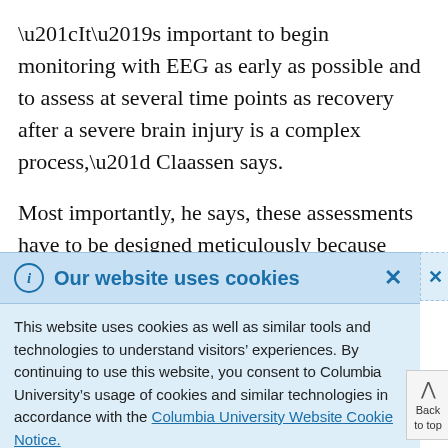“It’s important to begin monitoring with EEG as early as possible and to assess at several time points as recovery after a severe brain injury is a complex process,” Claassen says.

Most importantly, he says, these assessments have to be designed meticulously because artifacts may be misinterpreted as brain activation if the testing paradigm is poorly designed or the computational
Our website uses cookies
This website uses cookies as well as similar tools and technologies to understand visitors’ experiences. By continuing to use this website, you consent to Columbia University’s usage of cookies and similar technologies in accordance with the Columbia University Website Cookie Notice.